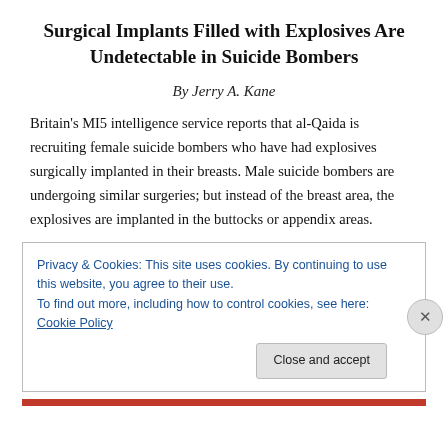Surgical Implants Filled with Explosives Are Undetectable in Suicide Bombers
By Jerry A. Kane
Britain's MI5 intelligence service reports that al-Qaida is recruiting female suicide bombers who have had explosives surgically implanted in their breasts. Male suicide bombers are undergoing similar surgeries; but instead of the breast area, the explosives are implanted in the buttocks or appendix areas.
Privacy & Cookies: This site uses cookies. By continuing to use this website, you agree to their use. To find out more, including how to control cookies, see here: Cookie Policy